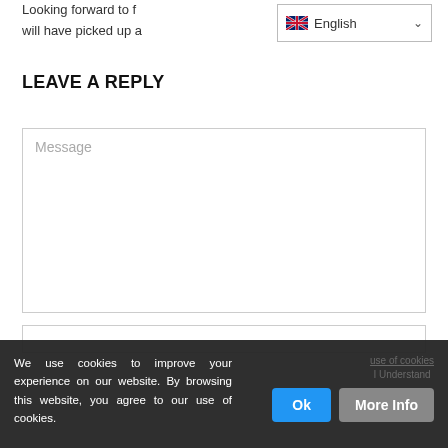Looking forward to f... will have picked up a
[Figure (screenshot): Language selector dropdown showing English with UK flag]
LEAVE A REPLY
[Figure (screenshot): Message textarea input box with placeholder text 'Message']
[Figure (screenshot): Text input box (empty)]
We use cookies to improve your experience on our website. By browsing this website, you agree to our use of cookies.
Ok
More Info